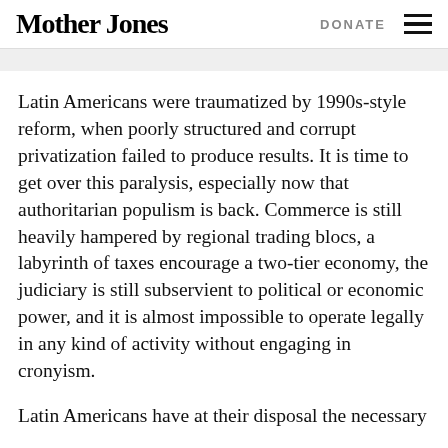Mother Jones | DONATE
Latin Americans were traumatized by 1990s-style reform, when poorly structured and corrupt privatization failed to produce results. It is time to get over this paralysis, especially now that authoritarian populism is back. Commerce is still heavily hampered by regional trading blocs, a labyrinth of taxes encourage a two-tier economy, the judiciary is still subservient to political or economic power, and it is almost impossible to operate legally in any kind of activity without engaging in cronyism.
Latin Americans have at their disposal the necessary